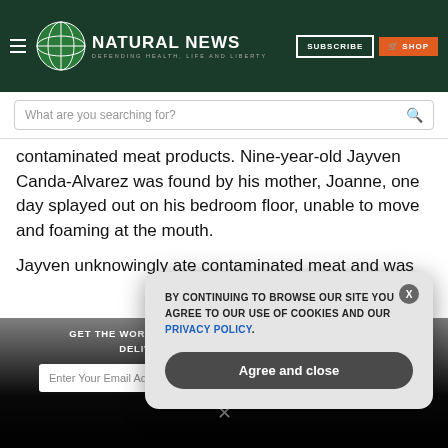NATURAL NEWS — DEFENDING HEALTH, LIFE AND LIBERTY
What are you searching for?
contaminated meat products. Nine-year-old Jayven Canda-Alvarez was found by his mother, Joanne, one day splayed out on his bedroom floor, unable to move and foaming at the mouth.
Jayven unknowingly ate contaminated meat and was
GET THE WORLD'S BEST NATURAL HEALTH NEWSLETTER DELIVERED STRAIGHT TO YOUR INBOX
BY CONTINUING TO BROWSE OUR SITE YOU AGREE TO OUR USE OF COOKIES AND OUR PRIVACY POLICY.
Agree and close